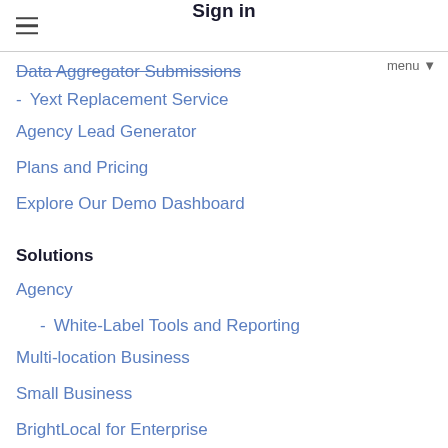Sign in
Data Aggregator Submissions
- Yext Replacement Service
Agency Lead Generator
Plans and Pricing
Explore Our Demo Dashboard
Solutions
Agency
- White-Label Tools and Reporting
Multi-location Business
Small Business
BrightLocal for Enterprise
Local SEO APIs
Free Tools
Local Listings Health Scanner